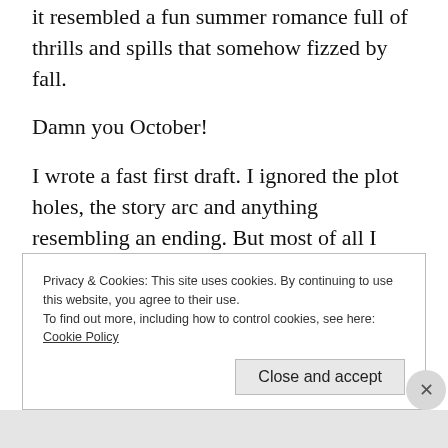it resembled a fun summer romance full of thrills and spills that somehow fizzed by fall.
Damn you October!
I wrote a fast first draft. I ignored the plot holes, the story arc and anything resembling an ending. But most of all I ignored the characters.
Privacy & Cookies: This site uses cookies. By continuing to use this website, you agree to their use.
To find out more, including how to control cookies, see here: Cookie Policy
Close and accept